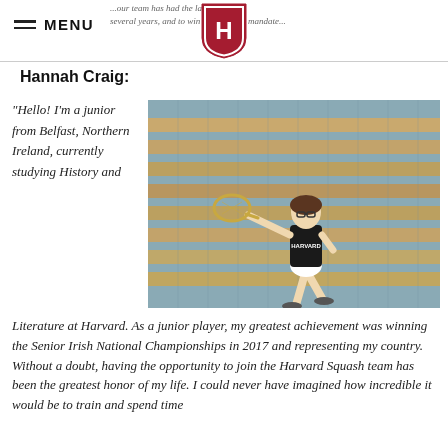MENU | Harvard Shield logo | ...our team has had the last several years, and to win the national championship...
Hannah Craig:
"Hello! I'm a junior from Belfast, Northern Ireland, currently studying History and Literature at Harvard. As a junior player, my greatest achievement was winning the Senior Irish National Championships in 2017 and representing my country. Without a doubt, having the opportunity to join the Harvard Squash team has been the greatest honor of my life. I could never have imagined how incredible it would be to train and spend time
[Figure (photo): A female squash player wearing a Harvard jersey and glasses, mid-swing with a squash racquet, in front of wooden bleachers in a gymnasium.]